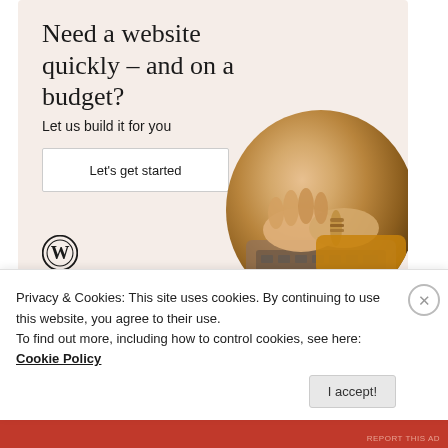[Figure (screenshot): WordPress advertisement banner with beige background. Headline reads 'Need a website quickly – and on a budget?', subtext 'Let us build it for you', a white button 'Let's get started', WordPress logo at bottom left, and a circular photo of hands typing on a laptop.]
REPORT THIS AD
CLAIRE STEPHENSON
March 1, 2021 at 9:01 pm
Privacy & Cookies: This site uses cookies. By continuing to use this website, you agree to their use.
To find out more, including how to control cookies, see here: Cookie Policy
I accept!